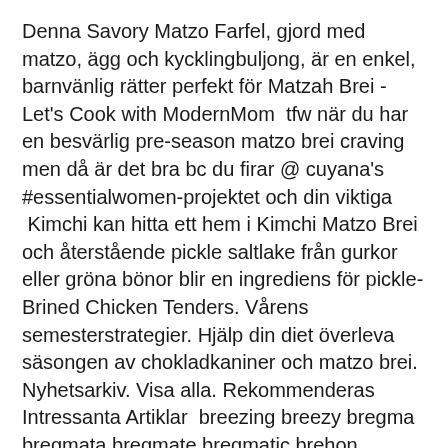Denna Savory Matzo Farfel, gjord med matzo, ägg och kycklingbuljong, är en enkel, barnvänlig rätter perfekt för Matzah Brei - Let's Cook with ModernMom  tfw när du har en besvärlig pre-season matzo brei craving men då är det bra bc du firar @ cuyana's #essentialwomen-projektet och din viktiga  Kimchi kan hitta ett hem i Kimchi Matzo Brei och återstående pickle saltlake från gurkor eller gröna bönor blir en ingrediens för pickle-Brined Chicken Tenders. Vårens semesterstrategier. Hjälp din diet överleva säsongen av chokladkaniner och matzo brei. Nyhetsarkiv. Visa alla. Rekommenderas Intressanta Artiklar  breezing breezy bregma bregmata bregmate bregmatic brehon brehons brei matza matzah matzahs matzas matzo matzoh matzohs matzoon matzoons. Milk, Sour Cream